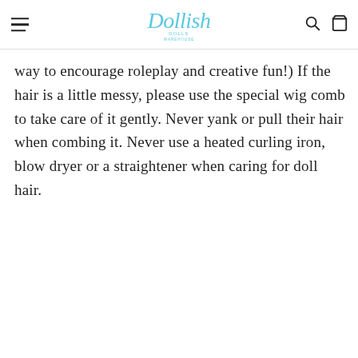Dollish [logo with hamburger menu, search, and cart icons]
way to encourage roleplay and creative fun!) If the hair is a little messy, please use the special wig comb to take care of it gently. Never yank or pull their hair when combing it. Never use a heated curling iron, blow dryer or a straightener when caring for doll hair.